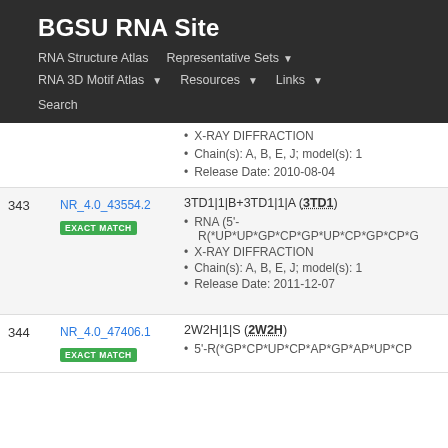BGSU RNA Site
RNA Structure Atlas | Representative Sets ▾ | RNA 3D Motif Atlas ▾ | Resources ▾ | Links ▾ | Search
| # | ID | Details |
| --- | --- | --- |
|  |  | X-RAY DIFFRACTION; Chain(s): A, B, E, J; model(s): 1; Release Date: 2010-08-04 |
| 343 | NR_4.0_43554.2 EXACT MATCH | 3TD1|1|B+3TD1|1|A (3TD1) • RNA (5'-R(*UP*UP*GP*CP*GP*UP*CP*GP*CP*G... • X-RAY DIFFRACTION • Chain(s): A, B, E, J; model(s): 1 • Release Date: 2011-12-07 |
| 344 | NR_4.0_47406.1 EXACT MATCH | 2W2H|1|S (2W2H) • 5'-R(*GP*CP*UP*CP*AP*GP*AP*UP*CP... |